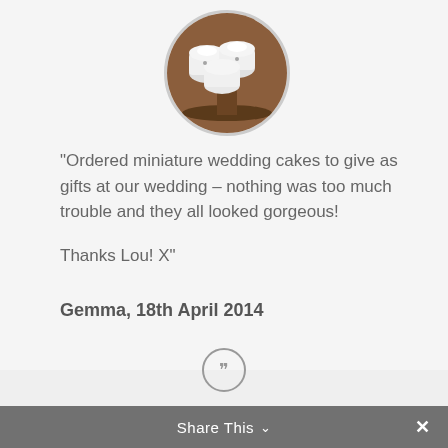[Figure (photo): Circular cropped photo of miniature white wedding cakes on a dark stand]
“Ordered miniature wedding cakes to give as gifts at our wedding – nothing was too much trouble and they all looked gorgeous!

Thanks Lou! X”
Gemma, 18th April 2014
[Figure (illustration): Quotation mark icon in a circle]
[Figure (photo): Circular cropped photo of a decorated cake]
Share This ∨